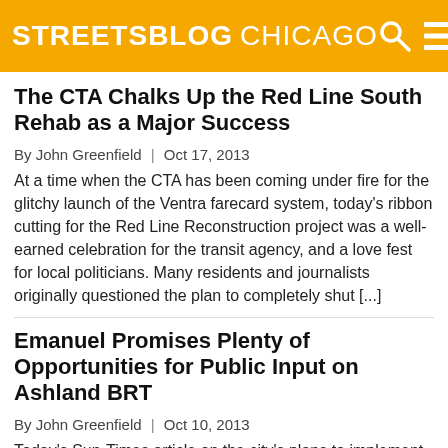STREETSBLOG CHICAGO
The CTA Chalks Up the Red Line South Rehab as a Major Success
By John Greenfield | Oct 17, 2013
At a time when the CTA has been coming under fire for the glitchy launch of the Ventra farecard system, today's ribbon cutting for the Red Line Reconstruction project was a well-earned celebration for the transit agency, and a love fest for local politicians. Many residents and journalists originally questioned the plan to completely shut [...]
Emanuel Promises Plenty of Opportunities for Public Input on Ashland BRT
By John Greenfield | Oct 10, 2013
Today's Sun-Times article on the city's plans to implement fast, efficient bus rapid transit on Ashland Avenue and in the Loop didn't provide much new information on the